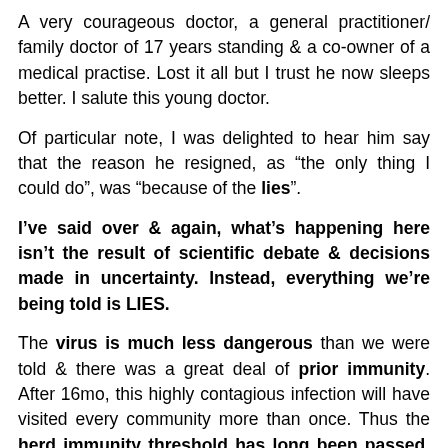A very courageous doctor, a general practitioner/ family doctor of 17 years standing & a co-owner of a medical practise. Lost it all but I trust he now sleeps better. I salute this young doctor.
Of particular note, I was delighted to hear him say that the reason he resigned, as “the only thing I could do”, was “because of the lies”.
I’ve said over & again, what’s happening here isn’t the result of scientific debate & decisions made in uncertainty. Instead, everything we’re being told is LIES.
The virus is much less dangerous than we were told & there was a great deal of prior immunity. After 16mo, this highly contagious infection will have visited every community more than once. Thus the herd immunity threshold has long been passed, before vaccination